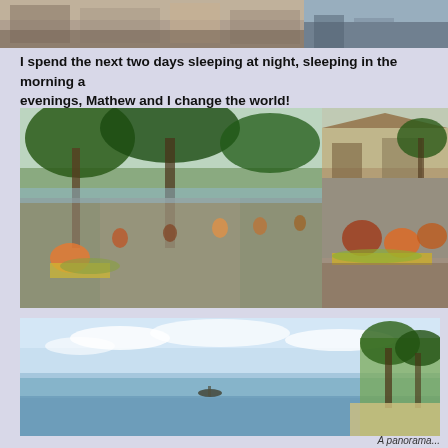[Figure (photo): Top left photo showing a street or outdoor scene with wooden structures]
[Figure (photo): Top right photo showing a coastal or outdoor scene]
I spend the next two days sleeping at night, sleeping in the morning a evenings, Mathew and I change the world!
[Figure (photo): Large photo of an outdoor market scene under trees with many people sitting and selling produce along a road near the beach]
[Figure (photo): Photo of women sitting on the ground selling fruits and vegetables at a market with thatched buildings in background]
[Figure (photo): Wide panoramic photo of a calm ocean/sea with a small boat on the water and a tropical coastline with palm trees on the right]
A panorama...